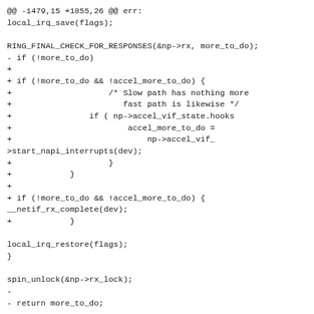@@ -1479,15 +1855,26 @@ err:
local_irq_save(flags);

RING_FINAL_CHECK_FOR_RESPONSES(&np->rx, more_to_do);
- if (!more_to_do)
+
+ if (!more_to_do && !accel_more_to_do) {
+                    /* Slow path has nothing more
+                       fast path is likewise */
+                if ( np->accel_vif_state.hooks
+                        accel_more_to_do =
+                            np->accel_vif_
>start_napi_interrupts(dev);
+                    }
+            }
+
+ if (!more_to_do && !accel_more_to_do) {
__netif_rx_complete(dev);
+            }

local_irq_restore(flags);
}

spin_unlock(&np->rx_lock);
-
- return more_to_do;
+
+        return more_to_do | accel_more_to_do;
}